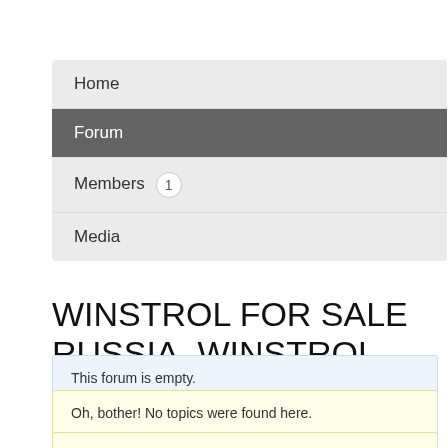Home
Forum
Members 1
Media
WINSTROL FOR SALE RUSSIA, WINSTROL FOR BODYBUILDING
This forum is empty.
Oh, bother! No topics were found here.
You must be logged in to create new topics.